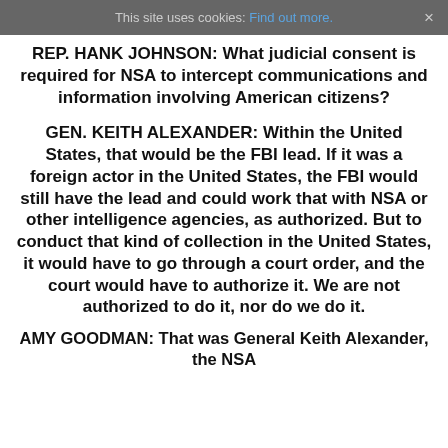This site uses cookies: Find out more. ×
REP. HANK JOHNSON: What judicial consent is required for NSA to intercept communications and information involving American citizens?
GEN. KEITH ALEXANDER: Within the United States, that would be the FBI lead. If it was a foreign actor in the United States, the FBI would still have the lead and could work that with NSA or other intelligence agencies, as authorized. But to conduct that kind of collection in the United States, it would have to go through a court order, and the court would have to authorize it. We are not authorized to do it, nor do we do it.
AMY GOODMAN: That was General Keith Alexander, the NSA...